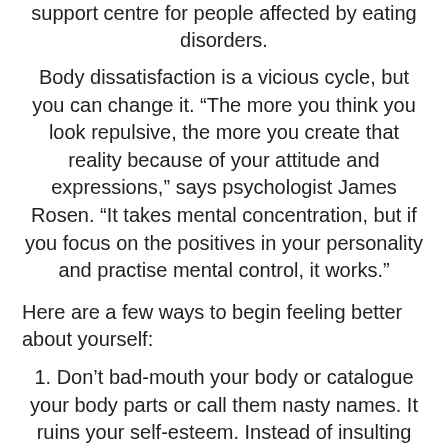support centre for people affected by eating disorders.
Body dissatisfaction is a vicious cycle, but you can change it. “The more you think you look repulsive, the more you create that reality because of your attitude and expressions,” says psychologist James Rosen. “It takes mental concentration, but if you focus on the positives in your personality and practise mental control, it works.”
Here are a few ways to begin feeling better about yourself:
1. Don’t bad-mouth your body or catalogue your body parts or call them nasty names. It ruins your self-esteem. Instead of insulting yourself with phrases like “fat and ugly,” be a little more forgiving. Use words like “smooth, soft, athletic, curvaceous.” 2. Put your appearance in perspective. It’s one thing to find something wrong with your looks, but quite another to find something wrong with